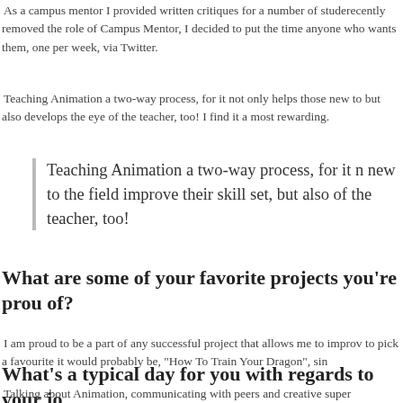As a campus mentor I provided written critiques for a number of students. When Ringling recently removed the role of Campus Mentor, I decided to put the time to good use and offer them to anyone who wants them, one per week, via Twitter.
Teaching Animation a two-way process, for it not only helps those new to the field improve their skill set, but also develops the eye of the teacher, too! I find it a most rewarding.
Teaching Animation a two-way process, for it not only helps those new to the field improve their skill set, but also develops the eye of the teacher, too!
What are some of your favorite projects you’re proud of?
I am proud to be a part of any successful project that allows me to improve as an artist. But if I had to pick a favourite it would probably be, "How To Train Your Dragon", since…
What’s a typical day for you with regards to your job?
Talking about Animation, communicating with peers and creative supervisors, reviewing and animating, too!